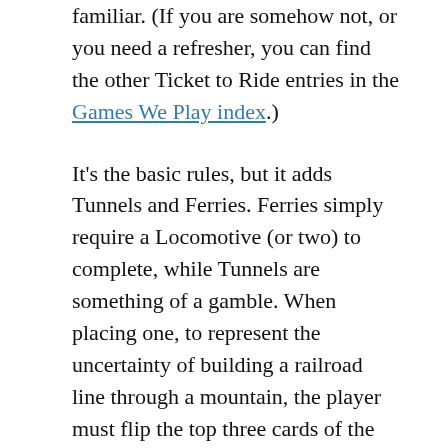familiar. (If you are somehow not, or you need a refresher, you can find the other Ticket to Ride entries in the Games We Play index.)
It's the basic rules, but it adds Tunnels and Ferries. Ferries simply require a Locomotive (or two) to complete, while Tunnels are something of a gamble. When placing one, to represent the uncertainty of building a railroad line through a mountain, the player must flip the top three cards of the train deck. If any of these match the color of the route, the player must add a card of that color for each match flipped. If the player can't afford this, the entire turn is forfeit.
The expansion adds to First it b...